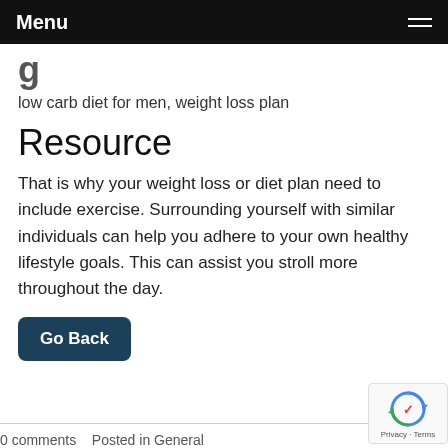Menu
g
low carb diet for men, weight loss plan
Resource
That is why your weight loss or diet plan need to include exercise. Surrounding yourself with similar individuals can help you adhere to your own healthy lifestyle goals. This can assist you stroll more throughout the day.
Go Back
0 comments   Posted in General